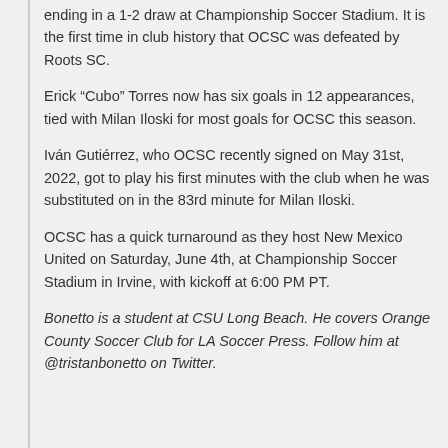ending in a 1-2 draw at Championship Soccer Stadium. It is the first time in club history that OCSC was defeated by Roots SC.
Erick “Cubo” Torres now has six goals in 12 appearances, tied with Milan Iloski for most goals for OCSC this season.
Iván Gutiérrez, who OCSC recently signed on May 31st, 2022, got to play his first minutes with the club when he was substituted on in the 83rd minute for Milan Iloski.
OCSC has a quick turnaround as they host New Mexico United on Saturday, June 4th, at Championship Soccer Stadium in Irvine, with kickoff at 6:00 PM PT.
Bonetto is a student at CSU Long Beach. He covers Orange County Soccer Club for LA Soccer Press. Follow him at @tristanbonetto on Twitter.